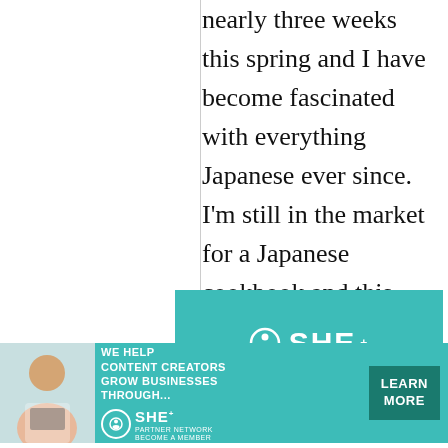nearly three weeks this spring and I have become fascinated with everything Japanese ever since. I'm still in the market for a Japanese cookbook and this looks like a good place to start.
[Figure (other): Advertisement banner for SHE Partner Network: teal background with SHE logo, text 'WE HELP CONTENT CREATORS GROW BUSINESSES THROUGH...' and 'LEARN MORE' button, photo of a woman with a laptop.]